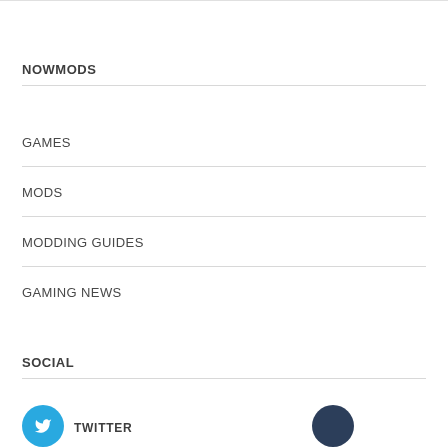NOWMODS
GAMES
MODS
MODDING GUIDES
GAMING NEWS
SOCIAL
TWITTER